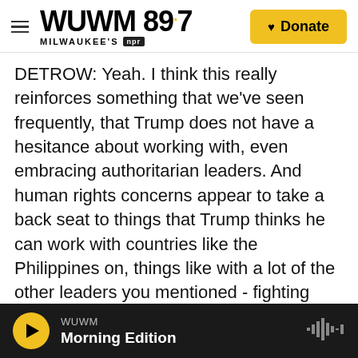WUWM 89.7 Milwaukee's NPR — Donate
DETROW: Yeah. I think this really reinforces something that we've seen frequently, that Trump does not have a hesitance about working with, even embracing authoritarian leaders. And human rights concerns appear to take a back seat to things that Trump thinks he can work with countries like the Philippines on, things like with a lot of the other leaders you mentioned - fighting ISIS, working towards fronts like that and here in Asia confronting North Korea. So Trump has no problem working with things when he thinks there's a specific deal he can get.
WUWM Morning Edition